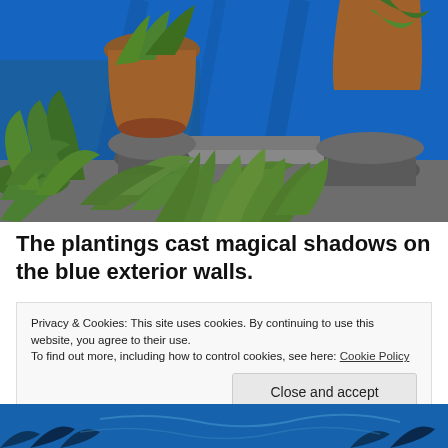[Figure (photo): Garden courtyard with lush green ferns and tropical plants in the foreground, large terracotta pots on stone pedestals, and a vivid cobalt blue exterior wall in the background with dramatic dappled shadows.]
The plantings cast magical shadows on the blue exterior walls.
Privacy & Cookies: This site uses cookies. By continuing to use this website, you agree to their use.
To find out more, including how to control cookies, see here: Cookie Policy
Close and accept
[Figure (photo): Bottom strip of another photo showing blue tones and dark plant silhouettes.]